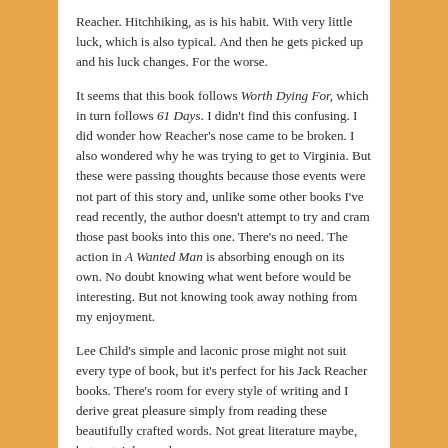Reacher. Hitchhiking, as is his habit. With very little luck, which is also typical. And then he gets picked up and his luck changes. For the worse.
It seems that this book follows Worth Dying For, which in turn follows 61 Days. I didn't find this confusing. I did wonder how Reacher's nose came to be broken. I also wondered why he was trying to get to Virginia. But these were passing thoughts because those events were not part of this story and, unlike some other books I've read recently, the author doesn't attempt to try and cram those past books into this one. There's no need. The action in A Wanted Man is absorbing enough on its own. No doubt knowing what went before would be interesting. But not knowing took away nothing from my enjoyment.
Lee Child's simple and laconic prose might not suit every type of book, but it's perfect for his Jack Reacher books. There's room for every style of writing and I derive great pleasure simply from reading these beautifully crafted words. Not great literature maybe, but certainly good